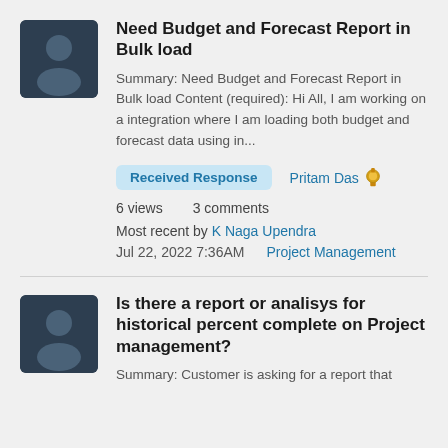Need Budget and Forecast Report in Bulk load
Summary: Need Budget and Forecast Report in Bulk load Content (required): Hi All, I am working on a integration where I am loading both budget and forecast data using in...
Received Response   Pritam Das 🎖
6 views   3 comments
Most recent by K Naga Upendra
Jul 22, 2022 7:36AM   Project Management
Is there a report or analisys for historical percent complete on Project management?
Summary: Customer is asking for a report that